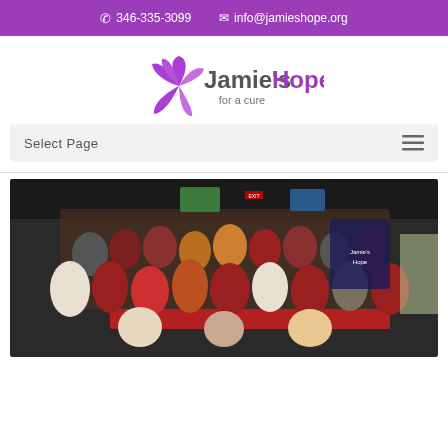346-335-3099  info@jamieshope.org
[Figure (logo): Jamie's Hope for a cure logo with purple flower/leaf graphic]
Select Page
[Figure (photo): Large group photo of people gathered inside a restaurant/bar venue, many wearing red, with a Jamie's Hope banner visible in the background]